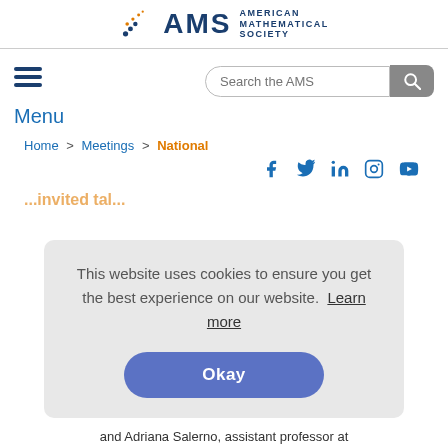[Figure (logo): American Mathematical Society (AMS) logo with stylized dot arc and bold text]
[Figure (screenshot): Search bar with 'Search the AMS' placeholder and magnifying glass button]
[Figure (illustration): Hamburger menu icon (three horizontal lines)]
Menu
Home > Meetings > National
[Figure (illustration): Social media icons: Facebook, Twitter, LinkedIn, Instagram, YouTube]
This website uses cookies to ensure you get the best experience on our website. Learn more
Okay
and Adriana Salerno, assistant professor at